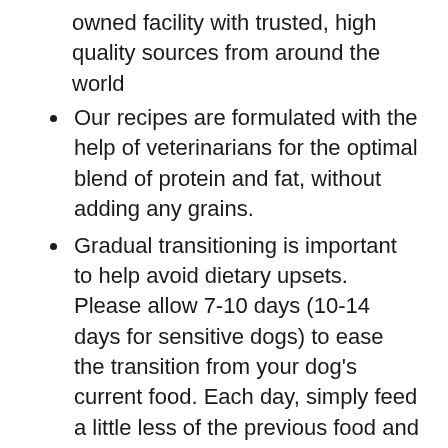owned facility with trusted, high quality sources from around the world
Our recipes are formulated with the help of veterinarians for the optimal blend of protein and fat, without adding any grains.
Gradual transitioning is important to help avoid dietary upsets. Please allow 7-10 days (10-14 days for sensitive dogs) to ease the transition from your dog’s current food. Each day, simply feed a little less of the previous food and a little more Wag food
Satisfaction Guarantee: We’re proud of our products. If you aren’t satisfied, we’ll refund you for any reason within a year of purchase. 1-877-485-0385
An Amazon brand